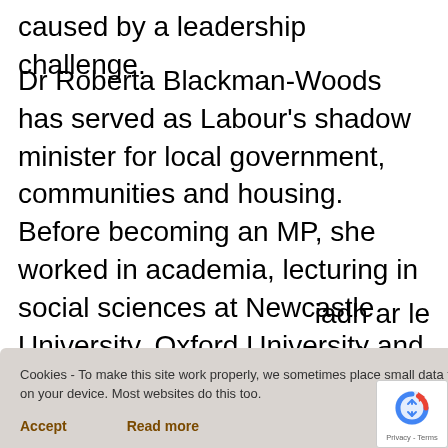caused by a leadership challenge.
Dr Roberta Blackman-Woods has served as Labour's shadow minister for local government, communities and housing. Before becoming an MP, she worked in academia, lecturing in social sciences at Newcastle University, Oxford University and Northumbria University. She has also served
iadh ar le
ons)
Cookies - To make this site work properly, we sometimes place small data files called cookies on your device. Most websites do this too.
Accept
Read more
[Figure (logo): Google reCAPTCHA badge with blue/red circular arrow icon and Privacy - Terms text]